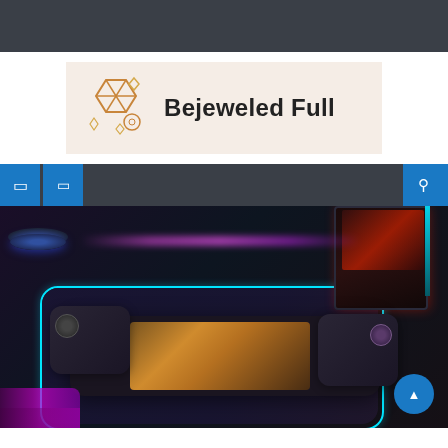[Figure (other): Dark gray top bar background strip]
[Figure (logo): Bejeweled Full logo on light pinkish-beige background, with gem/jewel icon in orange/gold on the left and bold text 'Bejeweled Full' on the right]
[Figure (other): Dark navigation bar with blue icon buttons on left and right sides]
[Figure (photo): Gaming setup photo showing a smartphone with game controller attachments on both sides (mobile gamepad), placed on an RGB LED light-up mouse pad on a dark desk, with a monitor and RGB lamp in the background, dramatic neon lighting in blue, purple, and red]